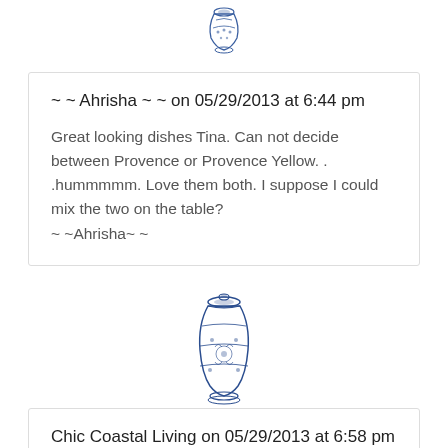[Figure (illustration): Small blue and white decorative ginger jar / vase illustration at top center]
~ ~ Ahrisha ~ ~ on 05/29/2013 at 6:44 pm
Great looking dishes Tina. Can not decide between Provence or Provence Yellow. . .hummmmm. Love them both. I suppose I could mix the two on the table?
~ ~Ahrisha~ ~
[Figure (illustration): Blue and white decorative ginger jar / vase illustration at center]
Chic Coastal Living on 05/29/2013 at 6:58 pm